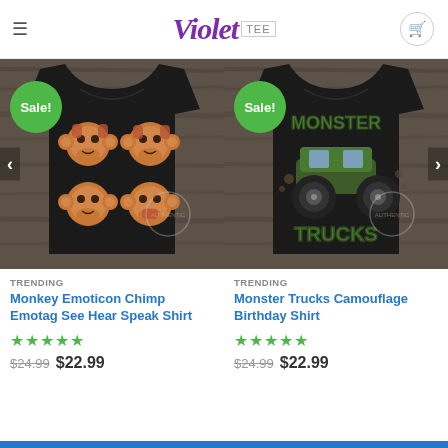Violet TEE — e-commerce header with hamburger menu and cart icon
[Figure (photo): Black t-shirt on dark wood background with four monkey emoji faces (see no evil, hear no evil, speak no evil, and a fourth), with a green Sale! badge overlay]
TRENDING
Monkey Emoticon Chimp Emotag See Hear Speak Shirt
★★★★★
$24.99 $22.99
[Figure (photo): Black t-shirt on dark wood background with camouflage Monster Trucks graphic text design, with a green Sale! badge overlay]
TRENDING
Monster Trucks Camouflage Birthday Shirt
★★★★★
$24.99 $22.99
Blue footer bar